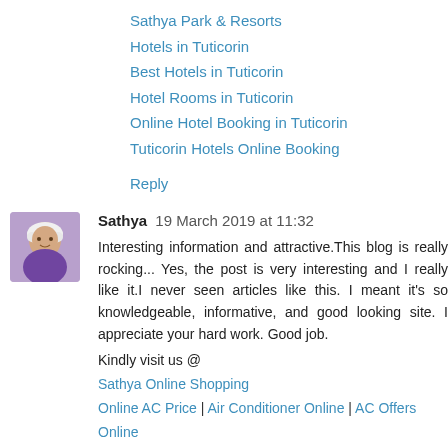Sathya Park & Resorts
Hotels in Tuticorin
Best Hotels in Tuticorin
Hotel Rooms in Tuticorin
Online Hotel Booking in Tuticorin
Tuticorin Hotels Online Booking
Reply
[Figure (photo): Avatar photo of commenter Sathya, a child wearing a white hat]
Sathya 19 March 2019 at 11:32
Interesting information and attractive.This blog is really rocking... Yes, the post is very interesting and I really like it.I never seen articles like this. I meant it's so knowledgeable, informative, and good looking site. I appreciate your hard work. Good job.
Kindly visit us @
Sathya Online Shopping
Online AC Price | Air Conditioner Online | AC Offers Online | AC Online Shopping
Inverter AC | Best Inverter AC | Inverter Split AC
Buy Split AC Online | Best Split AC | Split AC Online
LED TV Sale | Best LED TV Online | Smart LED TV | LED ...